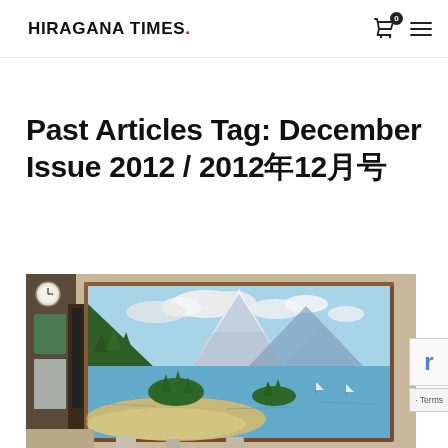HIRAGANA TIMES.
Past Articles Tag: December Issue 2012 / 2012年12月号
[Figure (photo): Painting of Mount Fuji with coastal landscape featuring green pine-covered islands, sandy beach, and blue water, displayed as a framed mural inside a room]